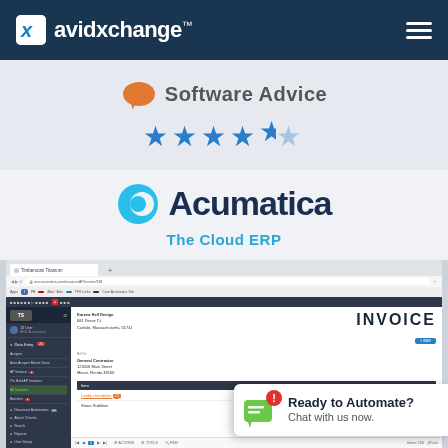avidxchange
[Figure (logo): Software Advice logo with orange chat bubble and 4.5 star rating in blue]
[Figure (logo): Acumatica - The Cloud ERP logo with cyan bubble icon]
[Figure (screenshot): Screenshot of Timberscan Titanium for Acumatica AP invoice automation software showing invoice from Karena Kell Design to General Contractor with INVOICE header, line items including Lobby chandelier at $6,541.00, with Ready to Automate? Chat with us now overlay widget]